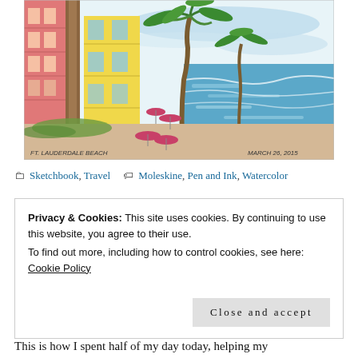[Figure (illustration): Watercolor and pen-and-ink sketch of Ft. Lauderdale Beach showing colorful buildings (pink and yellow), palm trees, sandy beach with pink umbrellas, and blue ocean. Captioned 'FT. LAUDERDALE BEACH' and dated 'MARCH 26, 2015'.]
Sketchbook, Travel   Moleskine, Pen and Ink, Watercolor
Privacy & Cookies: This site uses cookies. By continuing to use this website, you agree to their use.
To find out more, including how to control cookies, see here: Cookie Policy
Close and accept
This is how I spent half of my day today, helping my